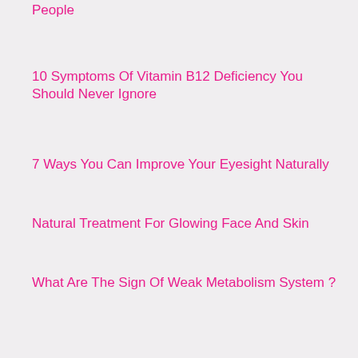People
10 Symptoms Of Vitamin B12 Deficiency You Should Never Ignore
7 Ways You Can Improve Your Eyesight Naturally
Natural Treatment For Glowing Face And Skin
What Are The Sign Of Weak Metabolism System ?